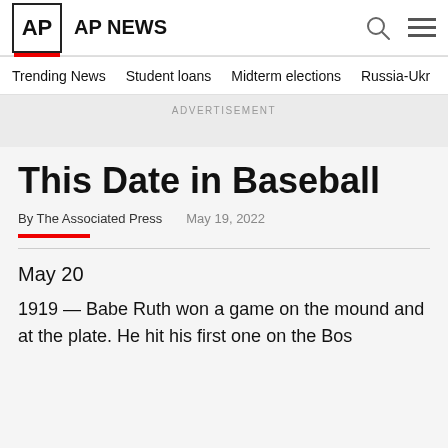AP AP NEWS
Trending News   Student loans   Midterm elections   Russia-Ukr
ADVERTISEMENT
This Date in Baseball
By The Associated Press   May 19, 2022
May 20
1919 — Babe Ruth won a game on the mound and at the plate. He hit his first ...